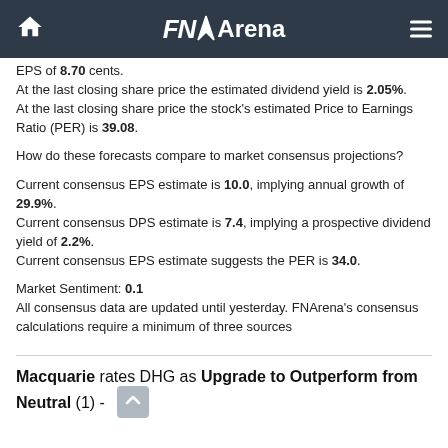FNArena
EPS of 8.70 cents. At the last closing share price the estimated dividend yield is 2.05%. At the last closing share price the stock's estimated Price to Earnings Ratio (PER) is 39.08.
How do these forecasts compare to market consensus projections?
Current consensus EPS estimate is 10.0, implying annual growth of 29.9%. Current consensus DPS estimate is 7.4, implying a prospective dividend yield of 2.2%. Current consensus EPS estimate suggests the PER is 34.0.
Market Sentiment: 0.1
All consensus data are updated until yesterday. FNArena's consensus calculations require a minimum of three sources
Macquarie rates DHG as Upgrade to Outperform from Neutral (1) -